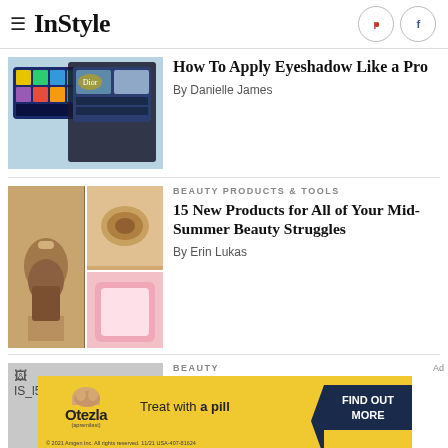InStyle
[Figure (photo): Eyeshadow palette products on a light blue glittery background]
How To Apply Eyeshadow Like a Pro
By Danielle James
BEAUTY PRODUCTS & TOOLS
[Figure (photo): Beauty products collage: foundation pump, cream container, pink product]
15 New Products for All of Your Mid-Summer Beauty Struggles
By Erin Lukas
BEAUTY
[Figure (photo): Placeholder image labeled IS_l52l_Air_Lead]
The Beauty Products You'll
[Figure (infographic): Otezla advertisement banner: Treat with a pill. FIND OUT MORE. 2021 Amgen Inc. All rights reserved. 11/21 USA-407-81624]